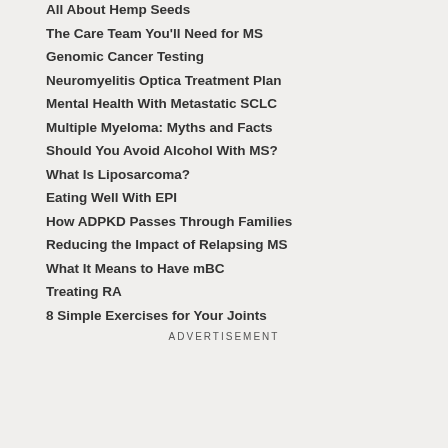All About Hemp Seeds
The Care Team You'll Need for MS
Genomic Cancer Testing
Neuromyelitis Optica Treatment Plan
Mental Health With Metastatic SCLC
Multiple Myeloma: Myths and Facts
Should You Avoid Alcohol With MS?
What Is Liposarcoma?
Eating Well With EPI
How ADPKD Passes Through Families
Reducing the Impact of Relapsing MS
What It Means to Have mBC
Treating RA
8 Simple Exercises for Your Joints
ADVERTISEMENT